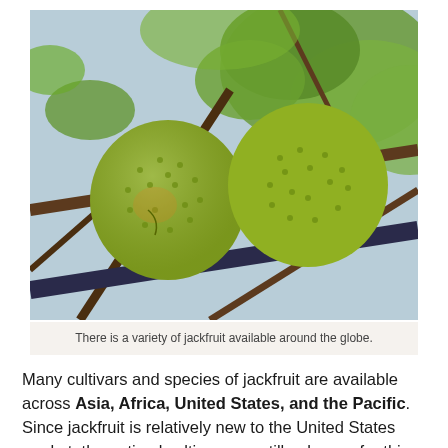[Figure (photo): Two round, green-yellow spiky jackfruits hanging from tree branches with green leaves and branches visible in the background.]
There is a variety of jackfruit available around the globe.
Many cultivars and species of jackfruit are available across Asia, Africa, United States, and the Pacific. Since jackfruit is relatively new to the United States market, the optimal cultivars are still unknown for this region.